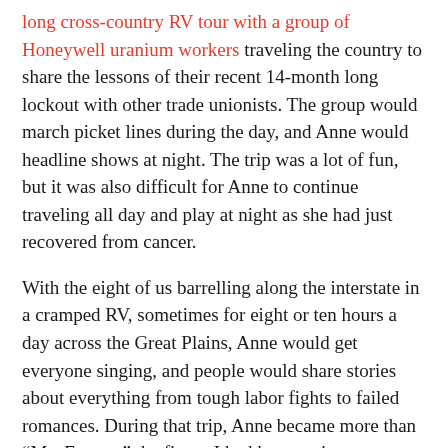long cross-country RV tour with a group of Honeywell uranium workers traveling the country to share the lessons of their recent 14-month long lockout with other trade unionists. The group would march picket lines during the day, and Anne would headline shows at night. The trip was a lot of fun, but it was also difficult for Anne to continue traveling all day and play at night as she had just recovered from cancer.
With the eight of us barrelling along the interstate in a cramped RV, sometimes for eight or ten hours a day across the Great Plains, Anne would get everyone singing, and people would share stories about everything from tough labor fights to failed romances. During that trip, Anne became more than “Ms. Feeney,” the figure I had known since childhood. As a 26-year-old labor reporter with a few tough labor fights under my belt, I suddenly became an oddball yinzer